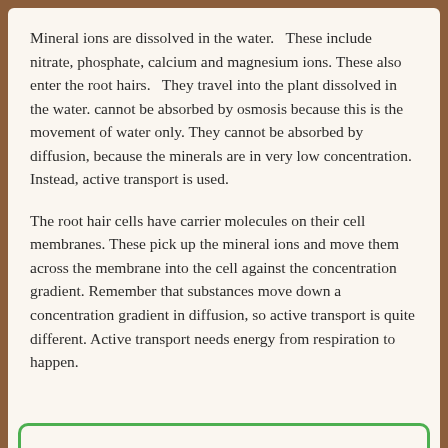Mineral ions are dissolved in the water.   These include nitrate, phosphate, calcium and magnesium ions. These also enter the root hairs.   They travel into the plant dissolved in the water. cannot be absorbed by osmosis because this is the movement of water only. They cannot be absorbed by diffusion, because the minerals are in very low concentration. Instead, active transport is used.
The root hair cells have carrier molecules on their cell membranes. These pick up the mineral ions and move them across the membrane into the cell against the concentration gradient. Remember that substances move down a concentration gradient in diffusion, so active transport is quite different. Active transport needs energy from respiration to happen.